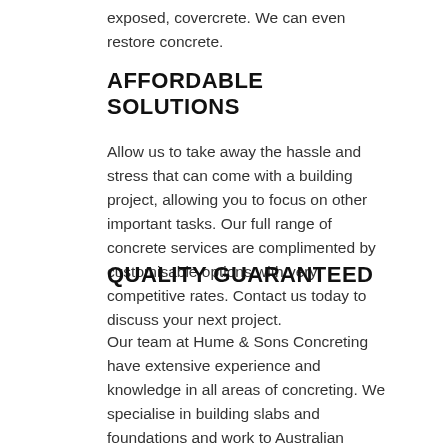exposed, covercrete. We can even restore concrete.
AFFORDABLE SOLUTIONS
Allow us to take away the hassle and stress that can come with a building project, allowing you to focus on other important tasks. Our full range of concrete services are complimented by customisable options with very competitive rates. Contact us today to discuss your next project.
QUALITY GUARANTEED
Our team at Hume & Sons Concreting have extensive experience and knowledge in all areas of concreting. We specialise in building slabs and foundations and work to Australian standards with nothing but high quality materials. We pride our selves in our workmanship and use quality control at all stages from preperation to materials used for the job. We work with you our client in choosing the right products and hooking that up with